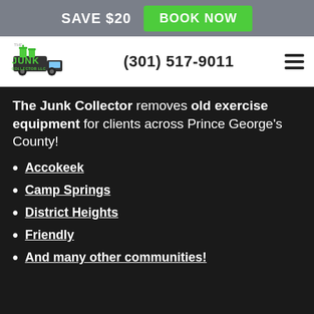SAVE $20  BOOK NOW
[Figure (logo): The Junk Collector LLC logo with green truck and trash can imagery]
(301) 517-9011
The Junk Collector removes old exercise equipment for clients across Prince George's County!
Accokeek
Camp Springs
District Heights
Friendly
And many other communities!